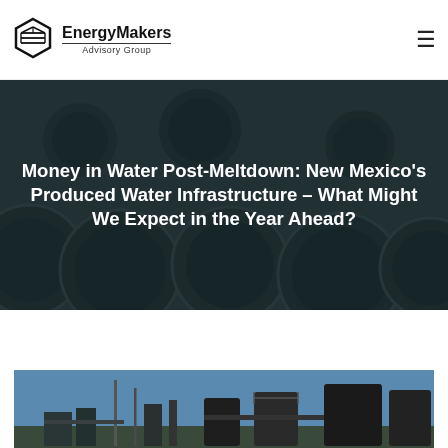EnergyMakers Advisory Group
Money in Water Post-Meltdown: New Mexico's Produced Water Infrastructure – What Might We Expect in the Year Ahead?
[Figure (photo): Industrial oil and gas storage tanks against a blue sky, partially visible at the bottom of the page]